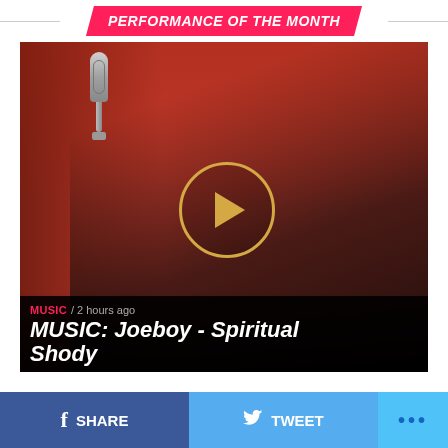PERFORMANCE OF THE MONTH
[Figure (photo): Music artist with dreadlocks and sunglasses singing in front of a red background with a studio microphone visible. A video play button overlay is shown in the center of the image.]
MUSIC / 2 hours ago
MUSIC: Joeboy - Spiritual Shody
SHARE
TWEET